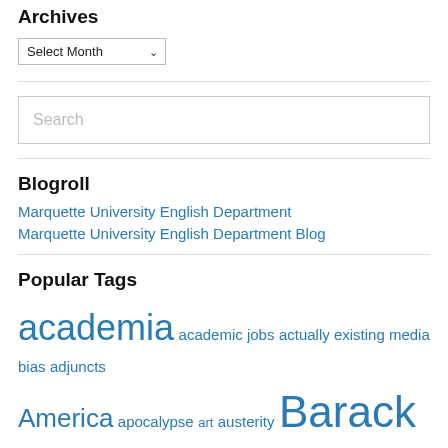Archives
Select Month
Search
Blogroll
Marquette University English Department
Marquette University English Department Blog
Popular Tags
academia academic jobs actually existing media bias adjuncts America apocalypse art austerity Barack Obama